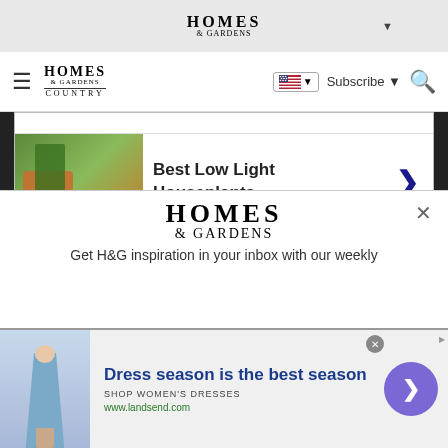HOMES & GARDENS
HOMES & GARDENS COUNTRY — Subscribe — Search
Best Low Light Houseplants
Full Shade Plants
Find your Gardening Zone
Ad | Glocal Search
[Figure (screenshot): Homes & Gardens newsletter popup with logo and text: Get H&G inspiration in your inbox with our weekly]
Get H&G inspiration in your inbox with our weekly
[Figure (screenshot): Bottom banner advertisement: Dress season is the best season — SHOP WOMEN'S DRESSES — www.landsend.com]